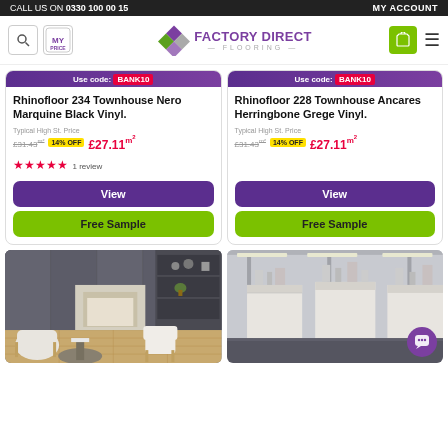CALL US ON 0330 100 00 15 | MY ACCOUNT
[Figure (logo): Factory Direct Flooring logo with diamond shapes and purple/green text]
Use code: BANK10
Rhinofloor 234 Townhouse Nero Marquine Black Vinyl.
Typical High St. Price £31.43/m² 14% OFF £27.11m²
★★★★★ 1 review
View
Free Sample
Use code: BANK10
Rhinofloor 228 Townhouse Ancares Herringbone Grege Vinyl.
Typical High St. Price £31.43/m² 14% OFF £27.11m²
View
Free Sample
[Figure (photo): Modern living room interior with dark grey walls and light wooden floor]
[Figure (photo): Laboratory or commercial space with dark grey flooring and white workbenches]